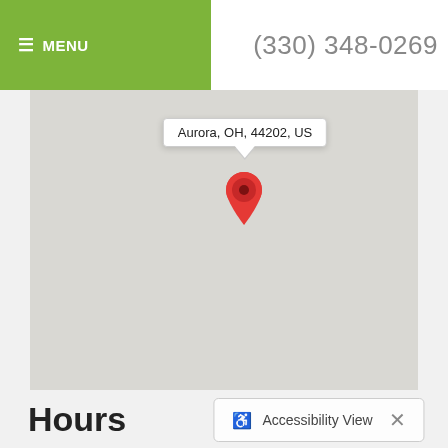≡ MENU   (330) 348-0269
[Figure (map): Google Maps screenshot showing a location pin at Aurora, OH, 44202, US with a tooltip popup and a red map pin marker on a light gray map background.]
Hours
Accessibility View ×